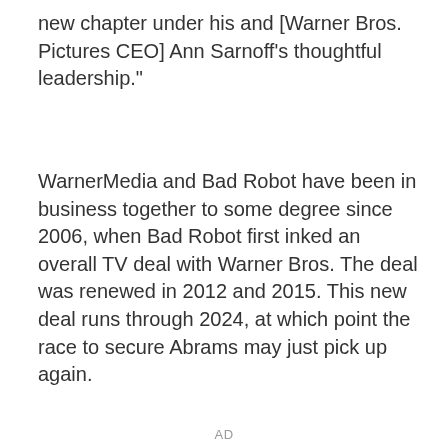new chapter under his and [Warner Bros. Pictures CEO] Ann Sarnoff's thoughtful leadership."
WarnerMedia and Bad Robot have been in business together to some degree since 2006, when Bad Robot first inked an overall TV deal with Warner Bros. The deal was renewed in 2012 and 2015. This new deal runs through 2024, at which point the race to secure Abrams may just pick up again.
AD